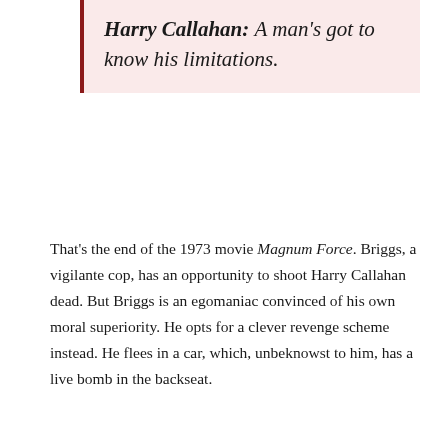Harry Callahan: A man's got to know his limitations.
That's the end of the 1973 movie Magnum Force. Briggs, a vigilante cop, has an opportunity to shoot Harry Callahan dead. But Briggs is an egomaniac convinced of his own moral superiority. He opts for a clever revenge scheme instead. He flees in a car, which, unbeknowst to him, has a live bomb in the backseat.
A man's got to know his limitations.
I was moved to reflect on this after a recent due diligence trip. In investing, outcomes are inherently uncertain. We never have perfect information when